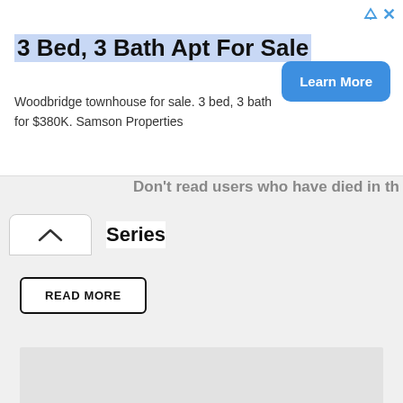[Figure (other): Advertisement banner: '3 Bed, 3 Bath Apt For Sale' with body text 'Woodbridge townhouse for sale. 3 bed, 3 bath for $380K. Samson Properties' and a blue 'Learn More' button]
Series
READ MORE
[Figure (other): Gray advertisement placeholder block]
Advertising